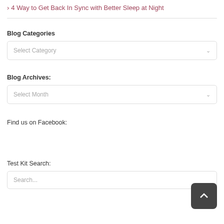> 4 Way to Get Back In Sync with Better Sleep at Night
Blog Categories
[Figure (screenshot): Select Category dropdown box]
Blog Archives:
[Figure (screenshot): Select Month dropdown box]
Find us on Facebook:
Test Kit Search:
[Figure (screenshot): Search... text input box]
[Figure (other): Back to top button with upward chevron arrow]